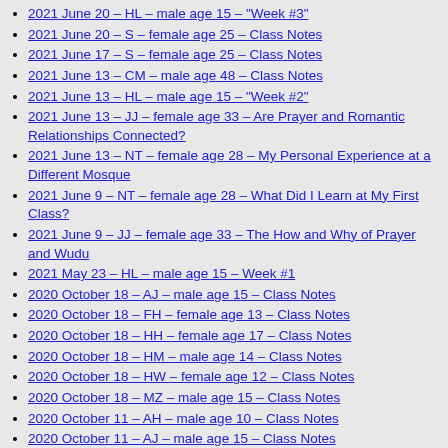2021 June 20 – HL – male age 15 – "Week #3"
2021 June 20 – S – female age 25 – Class Notes
2021 June 17 – S – female age 25 – Class Notes
2021 June 13 – CM – male age 48 – Class Notes
2021 June 13 – HL – male age 15 – "Week #2"
2021 June 13 – JJ – female age 33 – Are Prayer and Romantic Relationships Connected?
2021 June 13 – NT – female age 28 – My Personal Experience at a Different Mosque
2021 June 9 – NT – female age 28 – What Did I Learn at My First Class?
2021 June 9 – JJ – female age 33 – The How and Why of Prayer and Wudu
2021 May 23 – HL – male age 15 – Week #1
2020 October 18 – AJ – male age 15 – Class Notes
2020 October 18 – FH – female age 13 – Class Notes
2020 October 18 – HH – female age 17 – Class Notes
2020 October 18 – HM – male age 14 – Class Notes
2020 October 18 – HW – female age 12 – Class Notes
2020 October 18 – MZ – male age 15 – Class Notes
2020 October 11 – AH – male age 10 – Class Notes
2020 October 11 – AJ – male age 15 – Class Notes
2020 October 11 – FH – female age 13 – Class Notes
2020 October 11 – HH – female age 17 – Class Notes
2020 October 11 – HL – male age 15 – Class Notes
2020 October 11 – HM – male age 14 – Class Notes
2020 October 11 – HW – female age 12 – Class Notes
2020 October 11 – MZ – male age 15 – Class Notes
2020 October 4 – HH – female age 17 – Class Notes
2020 October 4 – FH – female age 13 – Class Notes